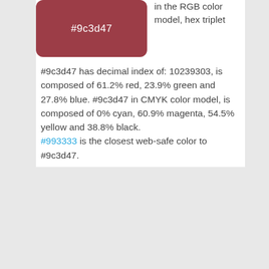[Figure (illustration): A rounded rectangle color swatch filled with #9c3d47 (dark rose/crimson color), with the hex code #9c3d47 written in white text centered on it.]
In the RGB color model, hex triplet #9c3d47 has decimal index of: 10239303, is composed of 61.2% red, 23.9% green and 27.8% blue. #9c3d47 in CMYK color model, is composed of 0% cyan, 60.9% magenta, 54.5% yellow and 38.8% black. #993333 is the closest web-safe color to #9c3d47.